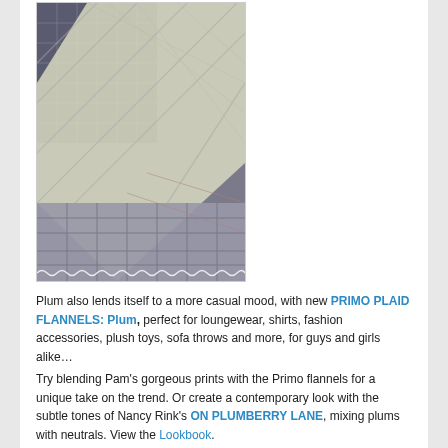[Figure (photo): Close-up photograph of plum/gray plaid flannel fabric folded and layered, showing multiple plaid patterns in muted purple, gray, green, and white tones.]
Plum also lends itself to a more casual mood, with new PRIMO PLAID FLANNELS: Plum, perfect for loungewear, shirts, fashion accessories, plush toys, sofa throws and more, for guys and girls alike…
Try blending Pam's gorgeous prints with the Primo flannels for a unique take on the trend. Or create a contemporary look with the subtle tones of Nancy Rink's ON PLUMBERRY LANE, mixing plums with neutrals. View the Lookbook.